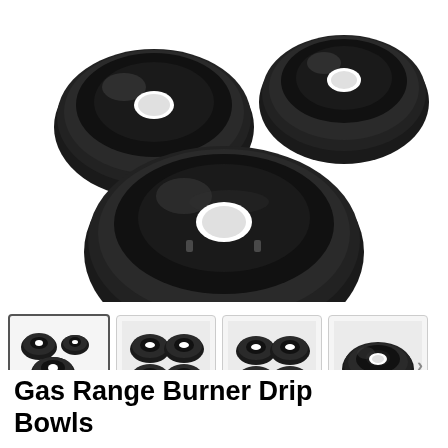[Figure (photo): Four black enamel gas range burner drip bowls arranged on white background — two smaller bowls in upper left and upper right, one large bowl in center-lower area. All bowls are black with a glossy finish and a center hole.]
[Figure (photo): Thumbnail 1 (selected): Set of black drip bowls, 5 bowls of various sizes arranged on white background.]
[Figure (photo): Thumbnail 2: Multiple black drip bowls arranged in rows on light background.]
[Figure (photo): Thumbnail 3: Multiple black drip bowls on light background, similar arrangement to thumbnail 2.]
[Figure (photo): Thumbnail 4 (partial, with navigation arrow): Single large black drip bowl close-up on light background, with a right-arrow navigation button visible.]
Gas Range Burner Drip Bowls